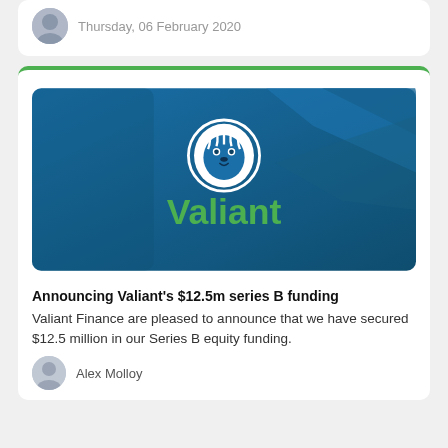Thursday, 06 February 2020
[Figure (logo): Valiant Finance logo on teal/dark blue geometric background with white lion head icon and green 'Valiant' wordmark]
Announcing Valiant's $12.5m series B funding
Valiant Finance are pleased to announce that we have secured $12.5 million in our Series B equity funding.
Alex Molloy